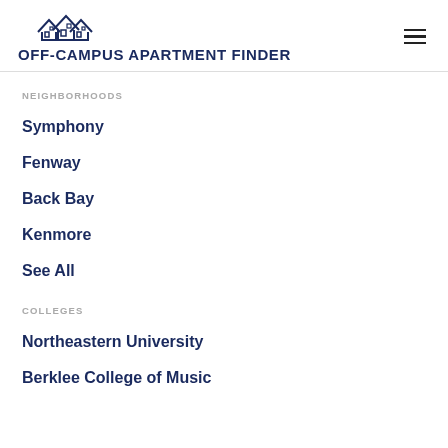OFF-CAMPUS APARTMENT FINDER
NEIGHBORHOODS
Symphony
Fenway
Back Bay
Kenmore
See All
COLLEGES
Northeastern University
Berklee College of Music